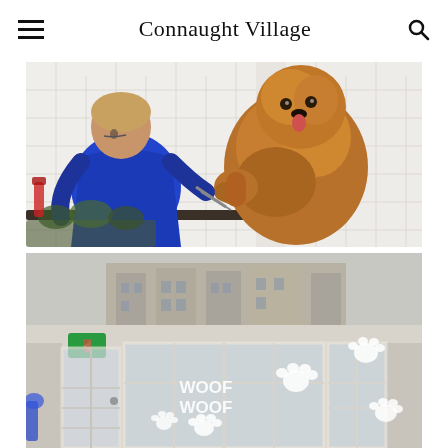Connaught Village
[Figure (photo): A dog groomer in a blue apron working on a large fluffy golden-brown doodle dog, set against a white subway tile background. The dog is sitting up on a grooming table with its paw raised.]
[Figure (photo): Exterior storefront of a pet shop called 'Woof Woof' with large glass windows decorated with white paw print decals and the text 'WOOF WOOF', reflecting buildings across the street.]